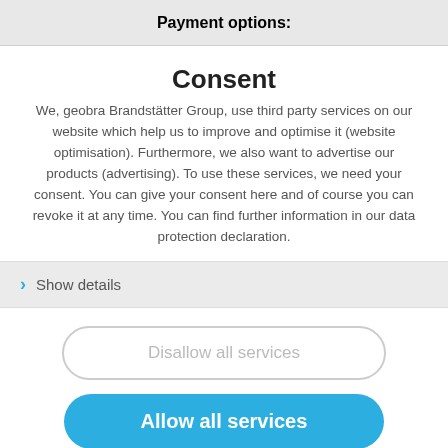Payment options:
Consent
We, geobra Brandstätter Group, use third party services on our website which help us to improve and optimise it (website optimisation). Furthermore, we also want to advertise our products (advertising). To use these services, we need your consent. You can give your consent here and of course you can revoke it at any time. You can find further information in our data protection declaration.
Show details
Disallow all services
Allow all services
Legal information
[Figure (illustration): UK flag circle icon]